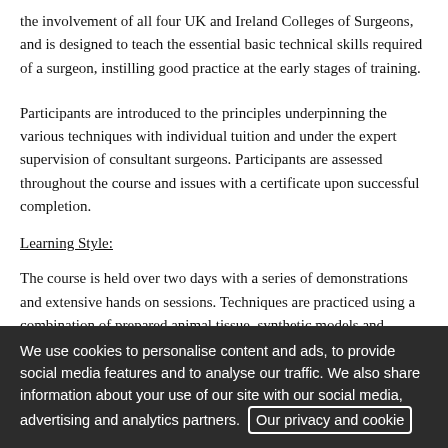the involvement of all four UK and Ireland Colleges of Surgeons, and is designed to teach the essential basic technical skills required of a surgeon, instilling good practice at the early stages of training.
Participants are introduced to the principles underpinning the various techniques with individual tuition and under the expert supervision of consultant surgeons. Participants are assessed throughout the course and issues with a certificate upon successful completion.
Learning Style:
The course is held over two days with a series of demonstrations and extensive hands on sessions. Techniques are practiced using a combination of prepared animal tissue, synthetic models and simulation.
We use cookies to personalise content and ads, to provide social media features and to analyse our traffic. We also share information about your use of our site with our social media, advertising and analytics partners. Our privacy and cookie